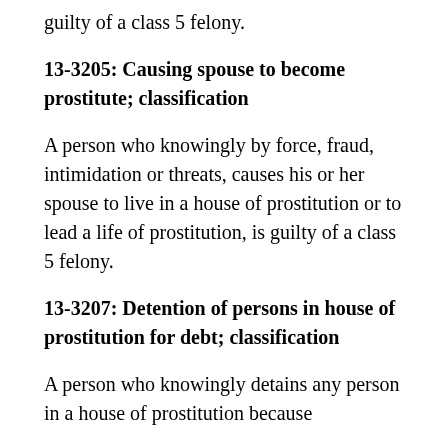guilty of a class 5 felony.
13-3205: Causing spouse to become prostitute; classification
A person who knowingly by force, fraud, intimidation or threats, causes his or her spouse to live in a house of prostitution or to lead a life of prostitution, is guilty of a class 5 felony.
13-3207: Detention of persons in house of prostitution for debt; classification
A person who knowingly detains any person in a house of prostitution because